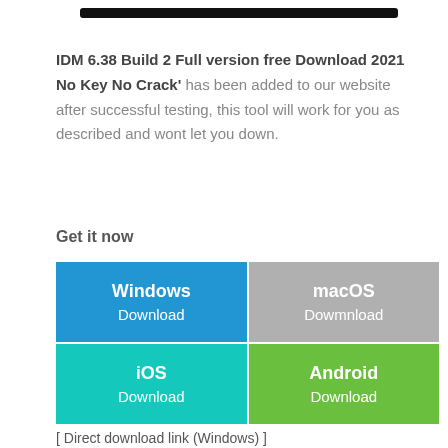[Figure (other): Black horizontal bar at top of page]
IDM 6.38 Build 2 Full version free Download 2021 No Key No Crack' has been added to our website after successful testing, this tool will work for you as described and wont let you down.
Get it now
[Figure (infographic): 2x2 grid of download buttons: Windows Download (blue), macOS Dowmnload (gray), iOS Download (teal), Android Download (green)]
[ Direct download link (Windows) ]